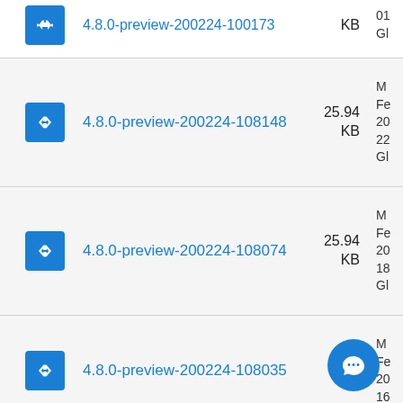4.8.0-preview-200224-108148 25.94 KB
4.8.0-preview-200224-108074 25.94 KB
4.8.0-preview-200224-108035 KB